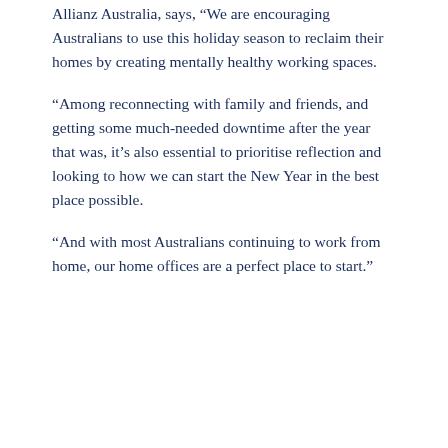Allianz Australia, says, “We are encouraging Australians to use this holiday season to reclaim their homes by creating mentally healthy working spaces.
“Among reconnecting with family and friends, and getting some much-needed downtime after the year that was, it’s also essential to prioritise reflection and looking to how we can start the New Year in the best place possible.
“And with most Australians continuing to work from home, our home offices are a perfect place to start.”